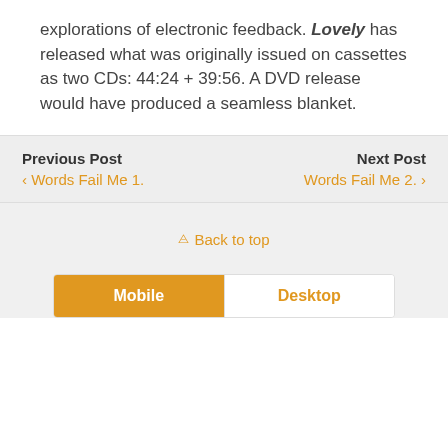explorations of electronic feedback. Lovely has released what was originally issued on cassettes as two CDs: 44:24 + 39:56. A DVD release would have produced a seamless blanket.
Previous Post
‹ Words Fail Me 1.
Next Post
Words Fail Me 2. ›
⇈ Back to top
Mobile  Desktop